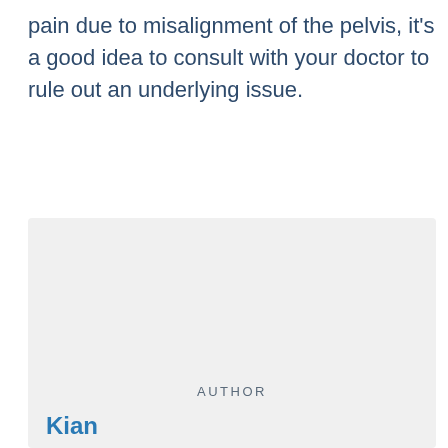pain due to misalignment of the pelvis, it's a good idea to consult with your doctor to rule out an underlying issue.
AUTHOR
Kian
I'm the main guy who writes for this